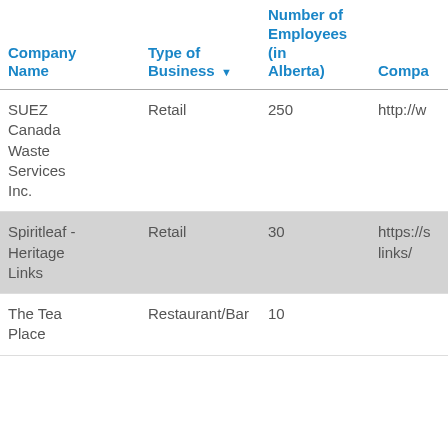| Company Name | Type of Business ▼ | Number of Employees (in Alberta) | Compa |
| --- | --- | --- | --- |
| SUEZ Canada Waste Services Inc. | Retail | 250 | http://w |
| Spiritleaf - Heritage Links | Retail | 30 | https://s links/ |
| The Tea Place | Restaurant/Bar | 10 |  |